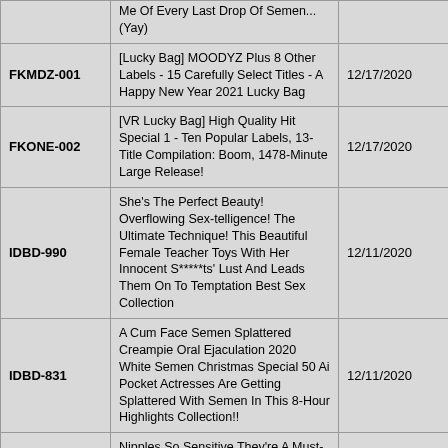| Code | Title | Date |
| --- | --- | --- |
|  | Me Of Every Last Drop Of Semen... (Yay) |  |
| FKMDZ-001 | [Lucky Bag] MOODYZ Plus 8 Other Labels - 15 Carefully Select Titles - A Happy New Year 2021 Lucky Bag | 12/17/2020 |
| FKONE-002 | [VR Lucky Bag] High Quality Hit Special 1 - Ten Popular Labels, 13-Title Compilation: Boom, 1478-Minute Large Release! | 12/17/2020 |
| IDBD-990 | She's The Perfect Beauty! Overflowing Sex-telligence! The Ultimate Technique! This Beautiful Female Teacher Toys With Her Innocent S*****ts' Lust And Leads Them On To Temptation Best Sex Collection | 12/11/2020 |
| IDBD-831 | A Cum Face Semen Splattered Creampie Oral Ejaculation 2020 White Semen Christmas Special 50 Ai Pocket Actresses Are Getting Splattered With Semen In This 8-Hour Highlights Collection!! | 12/11/2020 |
| IPX-582 | Nipples So Sensitive They're A Must-See! Adorable Idol At A Nipple Massage Parlor Kana Momonogi | 12/11/2020 |
| IDBD-832 | "If There Are No More Trains Tonight, Why Don't You Cum Over To My Place?" Women Who Lured Their Male Colleagues Home With No-Panties-Nor-Bras-Temptation After They Missed Their Last Trains Home 8-Hour Best Hits Collection And For The Finale, They're Wearing No Makeup! | 12/11/2020 |
|  | The Best Of Kana Momonogi's Super-Orgasmic Sex! Riston Pounding Action! The |  |